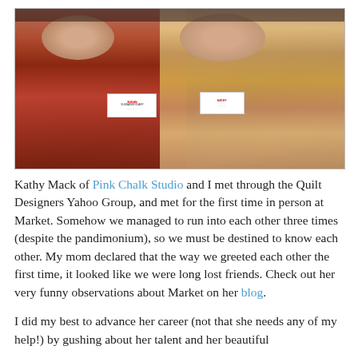[Figure (photo): Two women smiling and posing together at a quilt market event. The woman on the left wears a red floral top and has a name badge reading 'Susan Gunnader Knapp'. The woman on the right wears a colorful floral blouse and also has a name badge.]
Kathy Mack of Pink Chalk Studio and I met through the Quilt Designers Yahoo Group, and met for the first time in person at Market. Somehow we managed to run into each other three times (despite the pandimonium), so we must be destined to know each other. My mom declared that the way we greeted each other the first time, it looked like we were long lost friends. Check out her very funny observations about Market on her blog.
I did my best to advance her career (not that she needs any of my help!) by gushing about her talent and her beautiful